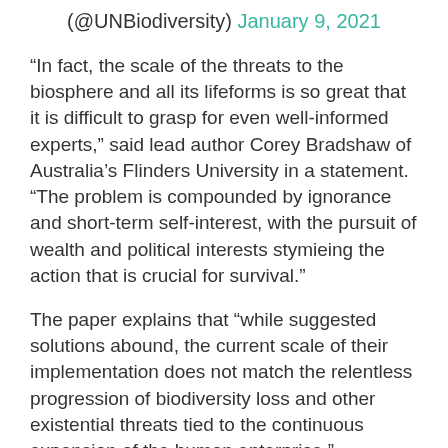(@UNBiodiversity) January 9, 2021
“In fact, the scale of the threats to the biosphere and all its lifeforms is so great that it is difficult to grasp for even well-informed experts,” said lead author Corey Bradshaw of Australia’s Flinders University in a statement. “The problem is compounded by ignorance and short-term self-interest, with the pursuit of wealth and political interests stymieing the action that is crucial for survival.”
The paper explains that “while suggested solutions abound, the current scale of their implementation does not match the relentless progression of biodiversity loss and other existential threats tied to the continuous expansion of the human enterprise.” According to its authors, “That we are already on the path